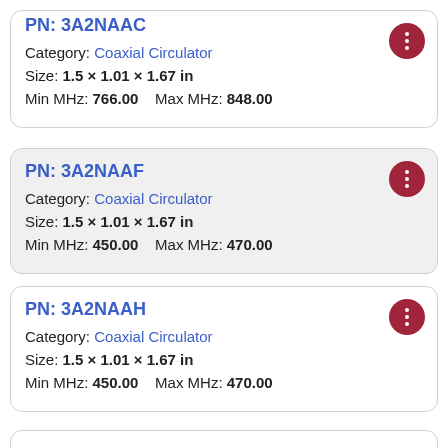PN: 3A2NAAC — Category: Coaxial Circulator, Size: 1.5 × 1.01 × 1.67 in, Min MHz: 766.00, Max MHz: 848.00
PN: 3A2NAAF — Category: Coaxial Circulator, Size: 1.5 × 1.01 × 1.67 in, Min MHz: 450.00, Max MHz: 470.00
PN: 3A2NAAH — Category: Coaxial Circulator, Size: 1.5 × 1.01 × 1.67 in, Min MHz: 450.00, Max MHz: 470.00